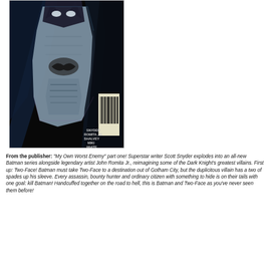[Figure (illustration): Comic book cover showing Batman in dark armored suit against black background, with barcode visible on right side. Credits: SNYDER, ROMITA JR., SHALVEY, MIKI, WHITE, BELLAIRES]
From the publisher: "My Own Worst Enemy" part one! Superstar writer Scott Snyder explodes into an all-new Batman series alongside legendary artist John Romita Jr., reimagining some of the Dark Knight's greatest villains. First up: Two-Face! Batman must take Two-Face to a destination out of Gotham City, but the duplicitous villain has a two of spades up his sleeve. Every assassin, bounty hunter and ordinary citizen with something to hide is on their tails with one goal: kill Batman! Handcuffed together on the road to hell, this is Batman and Two-Face as you've never seen them before!